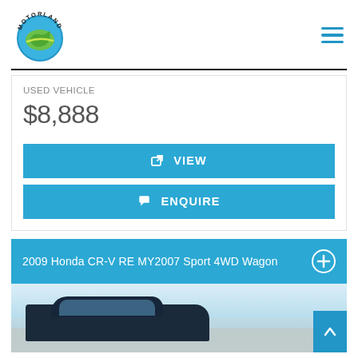[Figure (logo): Motorland logo — circular globe with green Australia map, blue background, 'MOTORLAND' text arc around top]
USED VEHICLE
$8,888
VIEW
ENQUIRE
2009 Honda CR-V RE MY2007 Sport 4WD Wagon
[Figure (photo): Partial photo of a dark blue Honda CR-V SUV in a car dealership lot, other cars and trees visible in background]